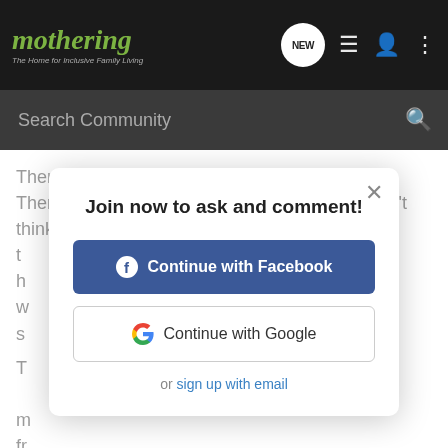mothering — The Home for Inclusive Family Living
Search Community
Then i met Tom. lol
There wasn't a second after i met him that i didn't think i was going to be with him for the rest of my life. time to reset. he makes sure that i get to meet all his friends, but he's never jealous when i save a ton of money on mechanic, plumbing and handyman bills since he's good at that stuff. He helps me make good decisions and even calls me on my crap when i
[Figure (screenshot): Modal dialog: Join now to ask and comment! with Continue with Facebook button, Continue with Google button, and or sign up with email link. Close X button top right.]